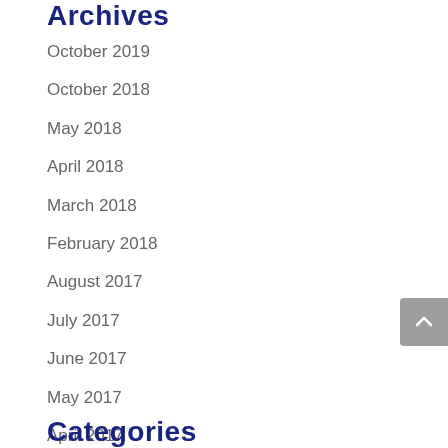Archives
October 2019
October 2018
May 2018
April 2018
March 2018
February 2018
August 2017
July 2017
June 2017
May 2017
April 2017
March 2017
February 2017
Categories